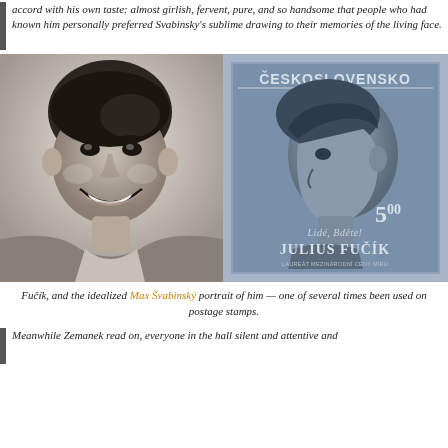accord with his own taste: almost girlish, fervent, pure, and so handsome that people who had known him personally preferred Svabinsky's sublime drawing to their memories of the living face.
[Figure (photo): Left: black and white photograph of Julius Fučík, a young man smiling broadly. Right: a Czechoslovak postage stamp depicting a side-profile portrait of Julius Fučík, inscribed with 'ČESKOSLOVENSKO', '5.00', 'LIDÉ, BDĚTE!', 'JULIUS FUČÍK', and 'LAUREÁT MEZINÁRODNÍ CENY MÍRU'.]
Fučík, and the idealized Max Švabinský portrait of him — one of several times been used on postage stamps.
Meanwhile Zemanek read on, everyone in the hall silent and attentive and